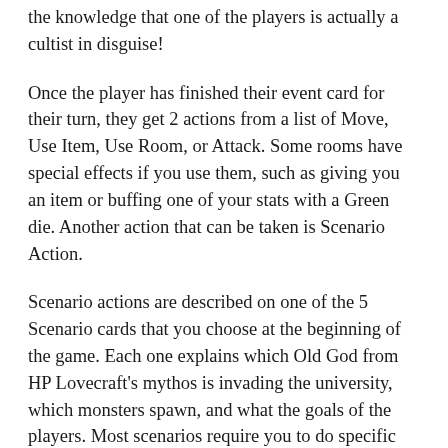the knowledge that one of the players is actually a cultist in disguise!
Once the player has finished their event card for their turn, they get 2 actions from a list of Move, Use Item, Use Room, or Attack. Some rooms have special effects if you use them, such as giving you an item or buffing one of your stats with a Green die. Another action that can be taken is Scenario Action.
Scenario actions are described on one of the 5 Scenario cards that you choose at the beginning of the game. Each one explains which Old God from HP Lovecraft's mythos is invading the university, which monsters spawn, and what the goals of the players. Most scenarios require you to do specific skill checks in specific rooms, and reward you with artifacts or clues needed to defeat the various evils.
Once all the players have gone, the first player draws two cards from the Star Chart deck. They then look at these two